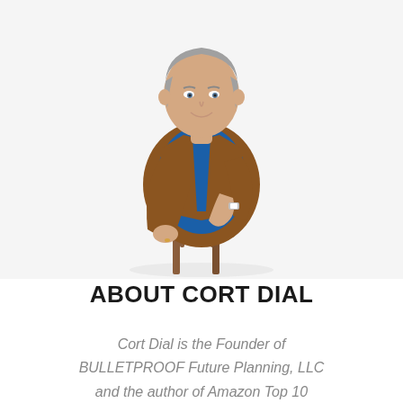[Figure (photo): Portrait photo of Cort Dial, a middle-aged man with gray hair, wearing a blue shirt and brown suede vest, leaning on a wooden chair with arms crossed, smiling, on white background]
ABOUT CORT DIAL
Cort Dial is the Founder of BULLETPROOF Future Planning, LLC and the author of Amazon Top 10